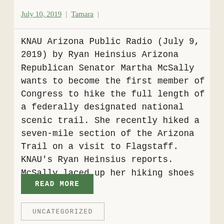July 10, 2019 | Tamara |
KNAU Arizona Public Radio (July 9, 2019) by Ryan Heinsius Arizona Republican Senator Martha McSally wants to become the first member of Congress to hike the full length of a federally designated national scenic trail. She recently hiked a seven-mile section of the Arizona Trail on a visit to Flagstaff. KNAU’s Ryan Heinsius reports. McSally laced up her hiking shoes [...]
READ MORE
UNCATEGORIZED